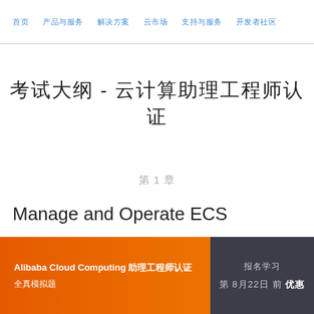首页  产品与服务  解决方案  云市场  支持与服务  开发者社区
考试大纲 - 云计算助理工程师认证
第 1 章
Manage and Operate ECS
Alibaba Cloud Computing 助理工程师认证 全真模拟题
报名学习  第 8月22日 前 优惠